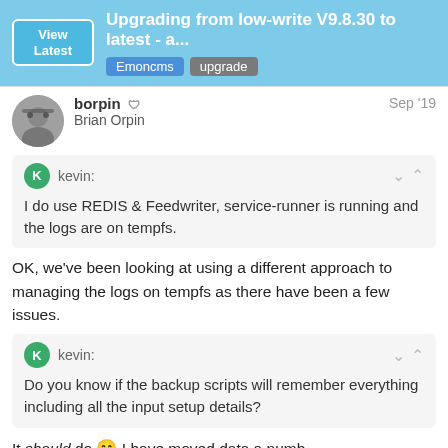Upgrading from low-write V9.8.30 to latest - a... | Emoncms | upgrade
borpin Brian Orpin Sep '19
kevin: I do use REDIS & Feedwriter, service-runner is running and the logs are on tempfs.
OK, we've been looking at using a different approach to managing the logs on tempfs as there have been a few issues.
kevin: Do you know if the backup scripts will remember everything including all the input setup details?
It should do 😁 I have moved data a numb... Help, but that was largely between the com...
5 / 24